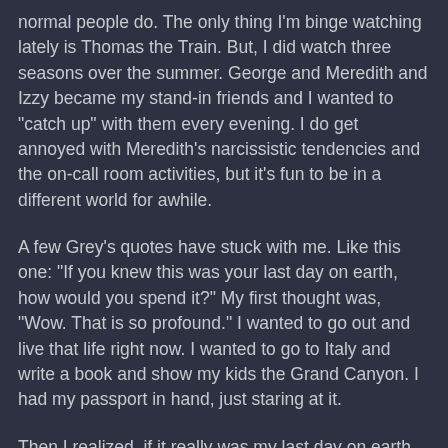normal people do.  The only thing I'm binge watching lately is Thomas the Train.  But, I did watch three seasons over the summer.  George and Meredith and Izzy became my stand-in friends and I wanted to "catch up" with them every evening.  I do get annoyed with Meredith's narcissistic tendencies and the on-call room activities, but it's fun to be in a different world for awhile.
A few Grey's quotes have stuck with me.  Like this one: "If you knew this was your last day on earth, how would you spend it?"  My first thought was, "Wow.  That is so profound."  I wanted to go out and live that life right now.  I wanted to go to Italy and write a book and show my kids the Grand Canyon.  I had my passport in hand, just staring at it.
Then I realized, if it really was my last day on earth, I'd probably spend it just like I am.  I can't shirk all of my responsibilities and go out and live just for me.  I still have to get my son to the bus and my daughter to preschool.  I have to make sure they have hot meals and my husband has clean towels and uniforms.  Does responsibility keep us from living the life we want or is it just part of our lives?  We can